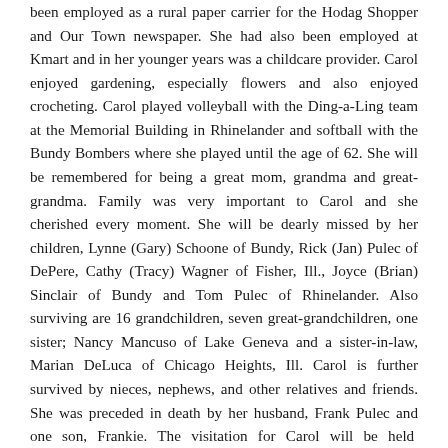been employed as a rural paper carrier for the Hodag Shopper and Our Town newspaper. She had also been employed at Kmart and in her younger years was a childcare provider. Carol enjoyed gardening, especially flowers and also enjoyed crocheting. Carol played volleyball with the Ding-a-Ling team at the Memorial Building in Rhinelander and softball with the Bundy Bombers where she played until the age of 62. She will be remembered for being a great mom, grandma and great-grandma. Family was very important to Carol and she cherished every moment. She will be dearly missed by her children, Lynne (Gary) Schoone of Bundy, Rick (Jan) Pulec of DePere, Cathy (Tracy) Wagner of Fisher, Ill., Joyce (Brian) Sinclair of Bundy and Tom Pulec of Rhinelander. Also surviving are 16 grandchildren, seven great-grandchildren, one sister; Nancy Mancuso of Lake Geneva and a sister-in-law, Marian DeLuca of Chicago Heights, Ill. Carol is further survived by nieces, nephews, and other relatives and friends. She was preceded in death by her husband, Frank Pulec and one son, Frankie. The visitation for Carol will be held Thursday, April 28, 2016 from 4 p.m. until the 7 p.m. funeral service at Hildebrand Russ Funeral Home.